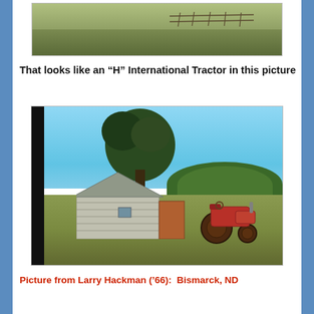[Figure (photo): Partial view of a field/pasture with dried grass and a fence visible in the background, cropped photo showing only the bottom portion]
That looks like an “H” International Tractor in this picture
[Figure (photo): Outdoor color photograph showing a rustic log cabin/building with a shingled roof, a large tree behind it with blue sky, overgrown grassy field in foreground, and a red International H tractor parked to the right of the building. A dark bar appears on the left edge of the photo.]
Picture from Larry Hackman (’66):  Bismarck, ND